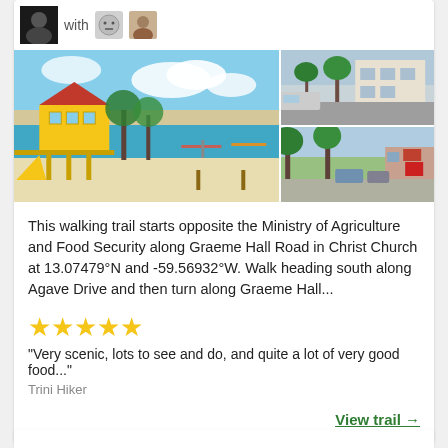[Figure (photo): Profile avatar (dark/black photo) with 'with' text and emoji face icon plus second avatar]
[Figure (photo): Photo grid: main large photo of yellow lifeguard/beach house on white sand beach with turquoise water; top-right photo of street with building and palm trees; bottom-right photo of street scene with trees and shops]
This walking trail starts opposite the Ministry of Agriculture and Food Security along Graeme Hall Road in Christ Church at 13.07479°N and -59.56932°W. Walk heading south along Agave Drive and then turn along Graeme Hall...
[Figure (other): Five gold stars rating]
"Very scenic, lots to see and do, and quite a lot of very good food..."
Trini Hiker
View trail →